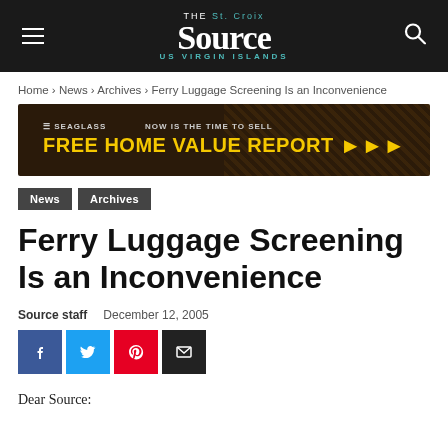THE St. Croix Source US VIRGIN ISLANDS
Home › News › Archives › Ferry Luggage Screening Is an Inconvenience
[Figure (infographic): SEAGLASS advertisement banner: NOW IS THE TIME TO SELL — FREE HOME VALUE REPORT >>>]
News
Archives
Ferry Luggage Screening Is an Inconvenience
Source staff   December 12, 2005
Dear Source: